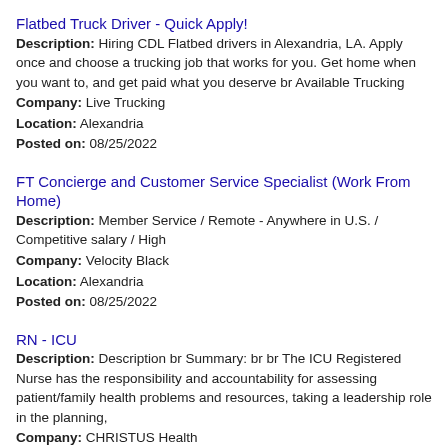Flatbed Truck Driver - Quick Apply!
Description: Hiring CDL Flatbed drivers in Alexandria, LA. Apply once and choose a trucking job that works for you. Get home when you want to, and get paid what you deserve br Available Trucking
Company: Live Trucking
Location: Alexandria
Posted on: 08/25/2022
FT Concierge and Customer Service Specialist (Work From Home)
Description: Member Service / Remote - Anywhere in U.S. / Competitive salary / High
Company: Velocity Black
Location: Alexandria
Posted on: 08/25/2022
RN - ICU
Description: Description br Summary: br br The ICU Registered Nurse has the responsibility and accountability for assessing patient/family health problems and resources, taking a leadership role in the planning,
Company: CHRISTUS Health
Location: Alexandria